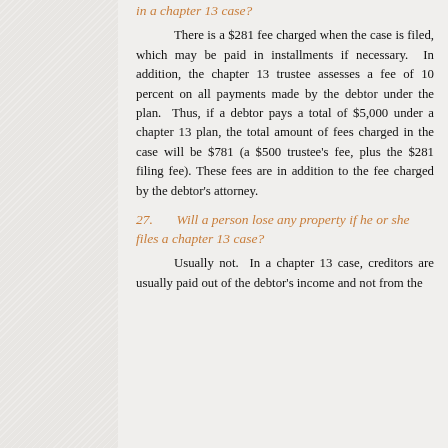in a chapter 13 case?
There is a $281 fee charged when the case is filed, which may be paid in installments if necessary. In addition, the chapter 13 trustee assesses a fee of 10 percent on all payments made by the debtor under the plan. Thus, if a debtor pays a total of $5,000 under a chapter 13 plan, the total amount of fees charged in the case will be $781 (a $500 trustee’s fee, plus the $281 filing fee). These fees are in addition to the fee charged by the debtor’s attorney.
27.      Will a person lose any property if he or she files a chapter 13 case?
Usually not. In a chapter 13 case, creditors are usually paid out of the debtor’s income and not from the